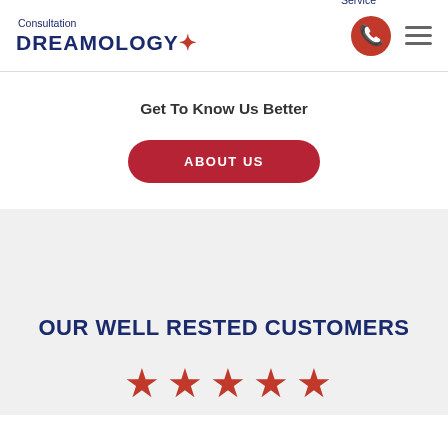Consultation DREAMOLOGY* Service
Get To Know Us Better
ABOUT US
OUR WELL RESTED CUSTOMERS
[Figure (illustration): Five red star icons in a row representing a 5-star rating]